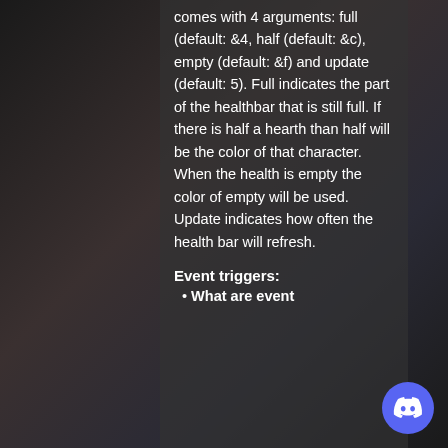comes with 4 arguments: full (default: &4, half (default: &c), empty (default: &f) and update (default: 5). Full indicates the part of the healthbar that is still full. If there is half a hearth than half will be the color of that character. When the health is empty the color of empty will be used. Update indicates how often the health bar will refresh.
Event triggers:
What are event